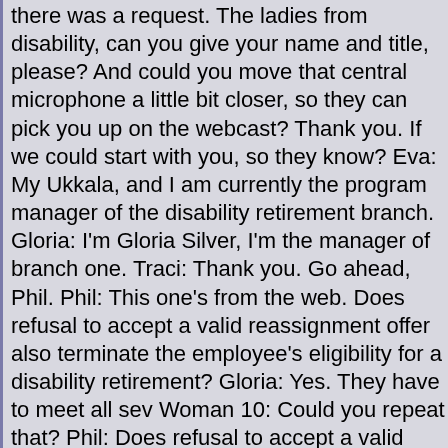there was a request. The ladies from disability, can you give your name and title, please? And could you move that central microphone a little bit closer, so they can pick you up on the webcast? Thank you. If we could start with you, so they know? Eva: My name is Ukkala, and I am currently the program manager of the disability retirement branch. Gloria: I'm Gloria Silver, I'm the manager of branch one. Traci: Thank you. Go ahead, Phil. Phil: This one's from the web. Does refusal to accept a valid reassignment offer also terminate the employee's eligibility for a disability retirement? Gloria: Yes. They have to meet all sev Woman 10: Could you repeat that? Phil: Does refusal to accept a valid reassignment offer also terminate the employee's eligibility for a disability retirement? The answer was yes. Gloria: It would be a denial, it doesn't terminate. Phil: It doesn't get via denial. In other